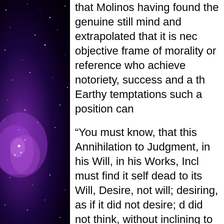[Figure (photo): Dark space/galaxy background image with purple nebula and stars on the left side of the page]
that Molinos having found the genuine still mind and extrapolated that it is nec objective frame of morality or reference who achieve notoriety, success and a th Earthy temptations such a position can
“You must know, that this Annihilation to Judgment, in his Will, in his Works, Incl must find it self dead to its Will, Desire, not will; desiring, as if it did not desire; d did not think, without inclining to any thi and Corrections. O what a happy Soul i in it self, because God lives in it: And no Phenix; because ’tis changed, spirituali
We have a further ‘alchemistic’ referenc references to a spiritual guide, that Mol who was guiding him through some ong has existed since the earliest records o day where this process has now taken